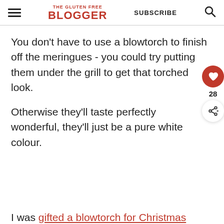THE GLUTEN FREE BLOGGER | SUBSCRIBE
You don't have to use a blowtorch to finish off the meringues - you could try putting them under the grill to get that torched look.
Otherwise they'll taste perfectly wonderful, they'll just be a pure white colour.
I was gifted a blowtorch for Christmas